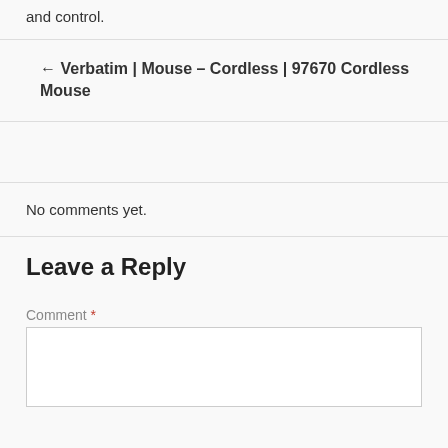and control.
← Verbatim | Mouse – Cordless | 97670 Cordless Mouse
No comments yet.
Leave a Reply
Comment *